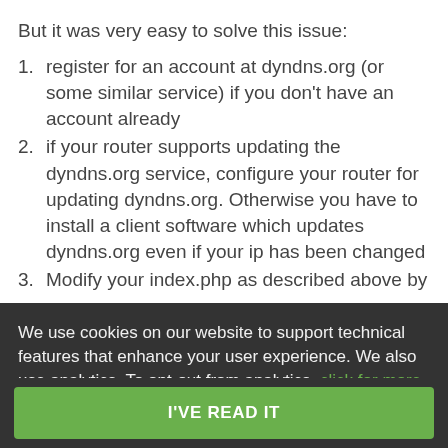But it was very easy to solve this issue:
1. register for an account at dyndns.org (or some similar service) if you don't have an account already
2. if your router supports updating the dyndns.org service, configure your router for updating dyndns.org. Otherwise you have to install a client software which updates dyndns.org even if your ip has been changed
3. Modify your index.php as described above by
Alert
We use cookies on our website to support technical features that enhance your user experience. We also use analytics. To opt-out from analytics, click for more information.
I'VE READ IT